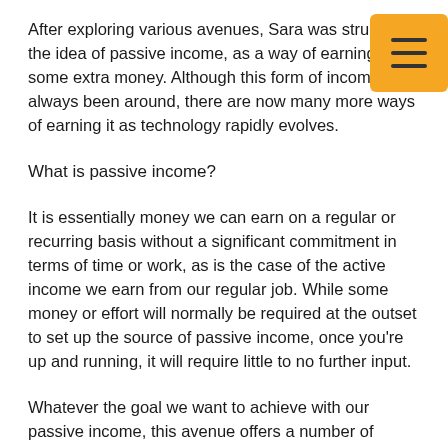After exploring various avenues, Sara was struck by the idea of passive income, as a way of earning some extra money. Although this form of income has always been around, there are now many more ways of earning it as technology rapidly evolves.
What is passive income?
It is essentially money we can earn on a regular or recurring basis without a significant commitment in terms of time or work, as is the case of the active income we earn from our regular job. While some money or effort will normally be required at the outset to set up the source of passive income, once you're up and running, it will require little to no further input.
Whatever the goal we want to achieve with our passive income, this avenue offers a number of benefits, such as instilling a savings culture, giving us an extra source of money so that we don't have to rely on wages alone, or allowing us to cope better with those curve balls life